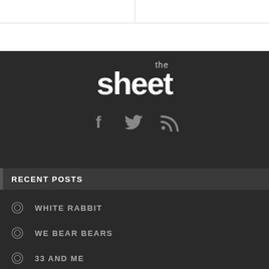[Figure (logo): The Sheet newspaper logo — large bold white text 'sheet' with small 'the' above in a dark background]
[Figure (infographic): Social media icons: Facebook (f), Twitter (bird), RSS feed — gray icons on dark background]
RECENT POSTS
WHITE RABBIT
WE BEAR BEARS
33 AND ME
SCHATS CREEK
RESCUE ME!